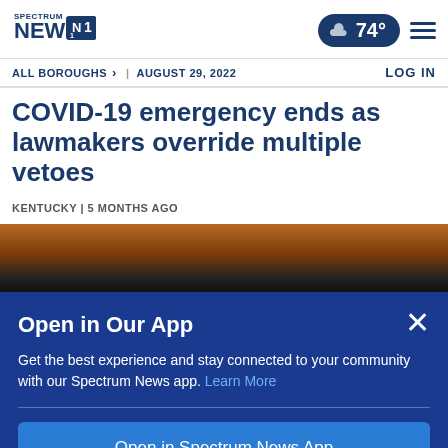Spectrum News NY1 — 74° — ALL BOROUGHS > | AUGUST 29, 2022 — LOG IN
COVID-19 emergency ends as lawmakers override multiple vetoes
KENTUCKY | 5 MONTHS AGO
[Figure (photo): Photo of a brown object on a dark background, partially visible behind a modal overlay]
Open in Our App
Get the best experience and stay connected to your community with our Spectrum News app. Learn More
Open in Spectrum News App
Continue in Browser